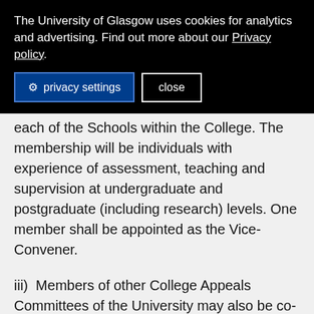The University of Glasgow uses cookies for analytics and advertising. Find out more about our Privacy policy.
privacy settings   close
each of the Schools within the College. The membership will be individuals with experience of assessment, teaching and supervision at undergraduate and postgraduate (including research) levels. One member shall be appointed as the Vice-Convener.
iii)  Members of other College Appeals Committees of the University may also be co-opted onto the College Appeals Committee to hear specific appeals with the proviso that they must not have had any involvement with the academic decision being appealed against.
27.1.3  The membership of the Committee shall b...